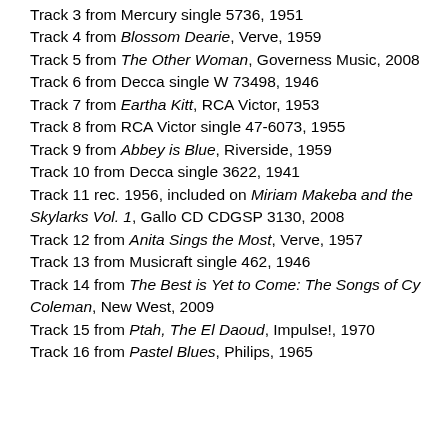Track 3 from Mercury single 5736, 1951
Track 4 from Blossom Dearie, Verve, 1959
Track 5 from The Other Woman, Governess Music, 2008
Track 6 from Decca single W 73498, 1946
Track 7 from Eartha Kitt, RCA Victor, 1953
Track 8 from RCA Victor single 47-6073, 1955
Track 9 from Abbey is Blue, Riverside, 1959
Track 10 from Decca single 3622, 1941
Track 11 rec. 1956, included on Miriam Makeba and the Skylarks Vol. 1, Gallo CD CDGSP 3130, 2008
Track 12 from Anita Sings the Most, Verve, 1957
Track 13 from Musicraft single 462, 1946
Track 14 from The Best is Yet to Come: The Songs of Cy Coleman, New West, 2009
Track 15 from Ptah, The El Daoud, Impulse!, 1970
Track 16 from Pastel Blues, Philips, 1965